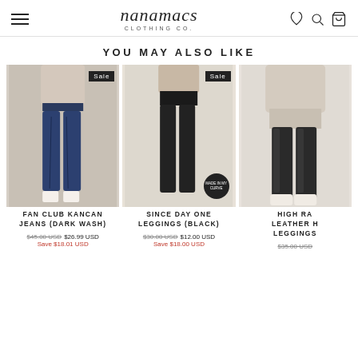Nanamacs Clothing Co.
YOU MAY ALSO LIKE
[Figure (photo): Model wearing Fan Club Kancan Jeans (Dark Wash) with Sale badge]
FAN CLUB KANCAN JEANS (DARK WASH)
$45.00 USD  $26.99 USD
Save $18.01 USD
[Figure (photo): Model wearing Since Day One Leggings (Black) with Sale badge and Curve badge]
SINCE DAY ONE LEGGINGS (BLACK)
$30.00 USD  $12.00 USD
Save $18.00 USD
[Figure (photo): Model wearing High Raise Leather High Leggings (partially cropped)]
HIGH RA... LEATHER H... LEGGINGS
$35.00 USD